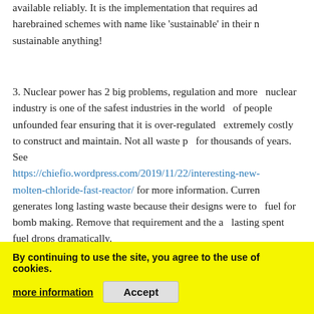available reliably. It is the implementation that requires ad... harebrained schemes with name like 'sustainable' in their n... sustainable anything!
3. Nuclear power has 2 big problems, regulation and more... nuclear industry is one of the safest industries in the world... of people unfounded fear ensuring that it is over-regulated... extremely costly to construct and maintain. Not all waste p... for thousands of years. See https://chiefio.wordpress.com/2019/11/22/interesting-new-molten-chloride-fast-reactor/ for more information. Curren... generates long lasting waste because their designs were to... fuel for bomb making. Remove that requirement and the a... lasting spent fuel drops dramatically.
4. COP25 was attended by many people and solved nothin... designed to solve anyth... to make westerne... pay, and pay dearly for the UN's communist idea of wealth... pocketing a large chunk for themselves).
By continuing to use the site, you agree to the use of cookies.